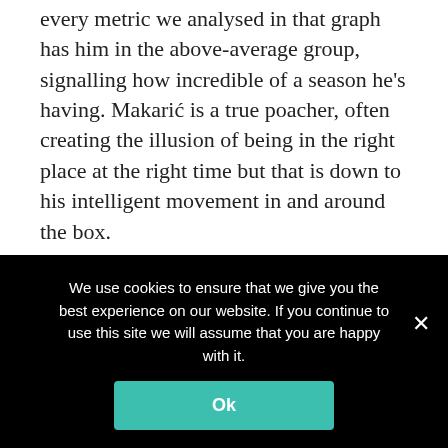anssies per so. But it's important to note that every metric we analysed in that graph has him in the above-average group, signalling how incredible of a season he's having. Makarić is a true poacher, often creating the illusion of being in the right place at the right time but that is down to his intelligent movement in and around the box.
His heatmap suggests he likes to drift wide, where he'll often be the target of long passes in transitions. Makarić is very strong and decently fast to beat his marker and make a deep run towards the box. Similarly, his back-to-goal
We use cookies to ensure that we give you the best experience on our website. If you continue to use this site we will assume that you are happy with it.